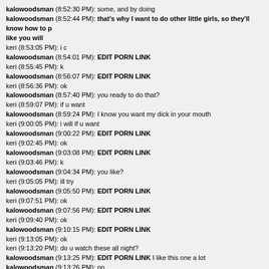kalowoodsman (8:52:30 PM): some, and by doing
kalowoodsman (8:52:44 PM): that's why I want to do other little girls, so they'll know how to p like you will
keri (8:53:05 PM): i c
kalowoodsman (8:54:01 PM): EDIT PORN LINK
keri (8:55:45 PM): k
kalowoodsman (8:56:07 PM): EDIT PORN LINK
keri (8:56:36 PM): ok
kalowoodsman (8:57:40 PM): you ready to do that?
keri (8:59:07 PM): if u want
kalowoodsman (8:59:24 PM): I know you want my dick in your mouth
keri (9:00:05 PM): i will if u want
kalowoodsman (9:00:22 PM): EDIT PORN LINK
keri (9:02:45 PM): ok
kalowoodsman (9:03:08 PM): EDIT PORN LINK
keri (9:03:46 PM): k
kalowoodsman (9:04:34 PM): you like?
keri (9:05:05 PM): ill try
kalowoodsman (9:05:50 PM): EDIT PORN LINK
keri (9:07:51 PM): ok
kalowoodsman (9:07:56 PM): EDIT PORN LINK
keri (9:09:40 PM): ok
kalowoodsman (9:10:15 PM): EDIT PORN LINK
keri (9:13:05 PM): ok
keri (9:13:20 PM): do u watch these all night?
kalowoodsman (9:13:25 PM): EDIT PORN LINK I like this one a lot
kalowoodsman (9:13:26 PM): no
keri (9:15:57 PM): u like that?
kalowoodsman (9:17:44 PM): yes
keri (9:20:28 PM): ok
keri (9:24:45 PM): watcha doin?
keri (9:27:56 PM): k i gtg
keri (9:28:20 PM): nite
kalowoodsman (9:28:32 PM): night hun
keri (11:10:06 PM): hey
kalowoodsman (11:10:18 PM): thought you were sleeping
keri (11:15:55 PM): ...